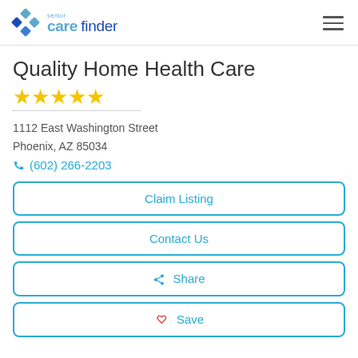senior care finder
Quality Home Health Care
[Figure (other): Five gold star rating icons]
1112 East Washington Street
Phoenix, AZ 85034
(602) 266-2203
Claim Listing
Contact Us
Share
Save